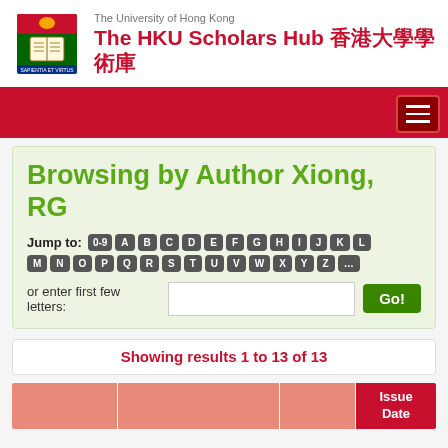The University of Hong Kong — The HKU Scholars Hub 香港大學學術庫
Browsing by Author Xiong, RG
Jump to: 0-9 A B C D E F G H I J K L M N O P Q R S T U V W X Y Z or enter first few letters: Go!
Showing results 1 to 13 of 13
|  |  |  | Issue Date |
| --- | --- | --- | --- |